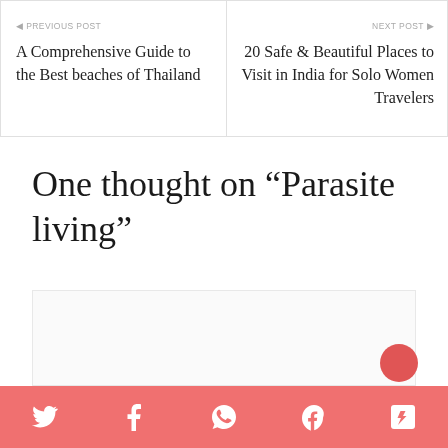◀ PREVIOUS POST
A Comprehensive Guide to the Best beaches of Thailand
NEXT POST ▶
20 Safe & Beautiful Places to Visit in India for Solo Women Travelers
One thought on “Parasite living”
[Figure (other): Empty comment form area with light gray border]
Social share bar with Twitter, Facebook, WhatsApp, Pinterest, Flipboard icons